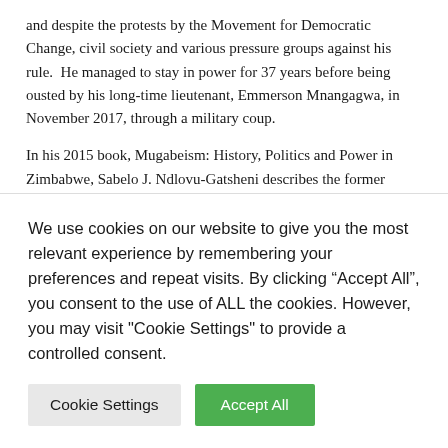and despite the protests by the Movement for Democratic Change, civil society and various pressure groups against his rule.  He managed to stay in power for 37 years before being ousted by his long-time lieutenant, Emmerson Mnangagwa, in November 2017, through a military coup.
In his 2015 book, Mugabeism: History, Politics and Power in Zimbabwe, Sabelo J. Ndlovu-Gatsheni describes the former President as an enigmatic figure whose political life attracted both admirers and critics and being the first of its kind, the book describes the self-contradiction of character and political life of the former president. Robert Mugabe was an outspoken economic nationalist, intellectual, racist and a radical Pan-Africanist, all as a veil to cover a somewhat fascistic militarism. As one of the first generation post-colonial African nationalist leader who led Africa to independence, Robert Mugabe had fought with the will to use education
We use cookies on our website to give you the most relevant experience by remembering your preferences and repeat visits. By clicking “Accept All”, you consent to the use of ALL the cookies. However, you may visit "Cookie Settings" to provide a controlled consent.